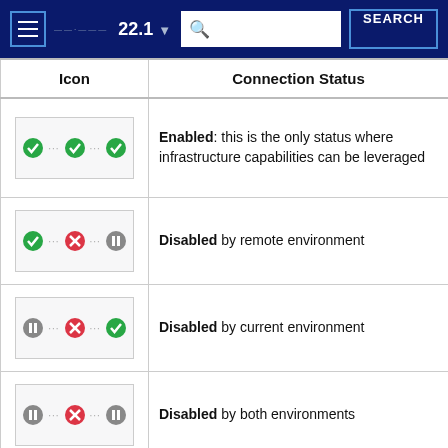≡  22.1 ∨  [search]  SEARCH
| Icon | Connection Status |
| --- | --- |
| [green-check ··· green-check ··· green-check] | Enabled: this is the only status where infrastructure capabilities can be leveraged |
| [green-check ··· red-x ··· pause] | Disabled by remote environment |
| [pause ··· red-x ··· green-check] | Disabled by current environment |
| [pause ··· red-x ··· pause] | Disabled by both environments |
| [green-check ··· yellow-warn ··· pause] | Connection error with |